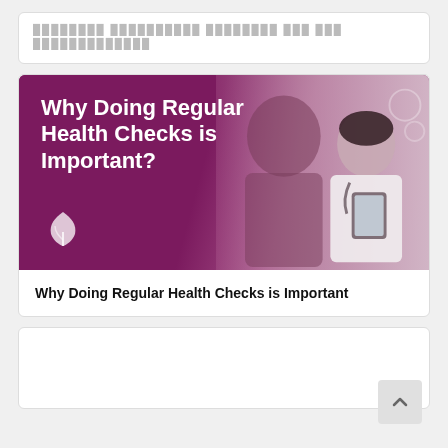█████████ ██████████ ████████ ███ ███ █████████████
[Figure (illustration): Promotional banner image with purple/magenta background showing bold white text 'Why Doing Regular Health Checks is Important?' with a leaf logo icon and a photo of a female doctor in white coat looking at a tablet, with a male patient silhouette in the foreground.]
Why Doing Regular Health Checks is Important